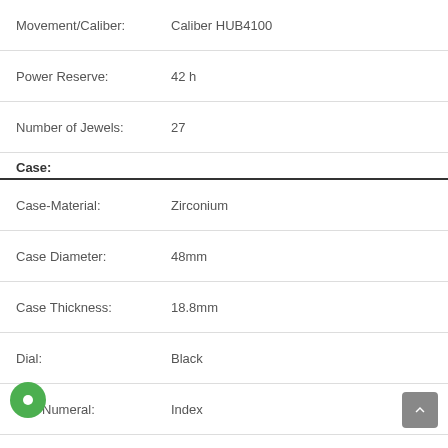| Attribute | Value |
| --- | --- |
| Movement/Caliber: | Caliber HUB4100 |
| Power Reserve: | 42 h |
| Number of Jewels: | 27 |
| Case: |  |
| Case-Material: | Zirconium |
| Case Diameter: | 48mm |
| Case Thickness: | 18.8mm |
| Dial: | Black |
| Dial Numeral: | Index |
| Water Resistant: | 100m / 330ft |
| Crystal: | Sapphire Crystal |
| Bracelet: |  |
| Bracelet Material: | Rubber / Nomex |
| Color: | Black |
| Clasp Type: | Buckle (partial) |